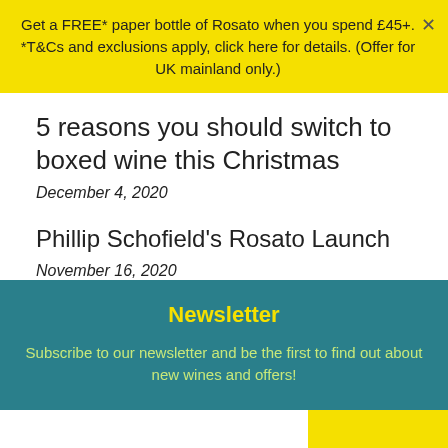Get a FREE* paper bottle of Rosato when you spend £45+. *T&Cs and exclusions apply, click here for details. (Offer for UK mainland only.)
5 reasons you should switch to boxed wine this Christmas
December 4, 2020
Phillip Schofield's Rosato Launch
November 16, 2020
Newsletter
Subscribe to our newsletter and be the first to find out about new wines and offers!